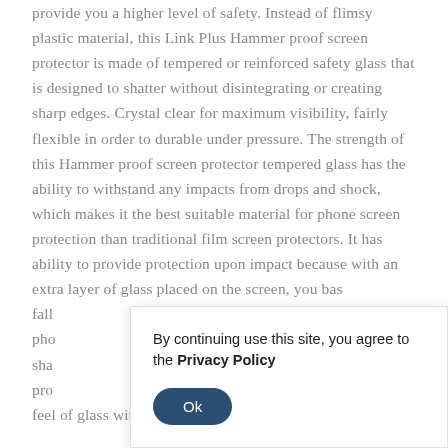provide you a higher level of safety. Instead of flimsy plastic material, this Link Plus Hammer proof screen protector is made of tempered or reinforced safety glass that is designed to shatter without disintegrating or creating sharp edges. Crystal clear for maximum visibility, fairly flexible in order to durable under pressure. The strength of this Hammer proof screen protector tempered glass has the ability to withstand any impacts from drops and shock, which makes it the best suitable material for phone screen protection than traditional film screen protectors. It has ability to provide protection upon impact because with an extra layer of glass placed on the screen, you bas fall pho sha pro feel of glass without all the oily fingerprint residue.
By continuing use this site, you agree to the Privacy Policy
Ok